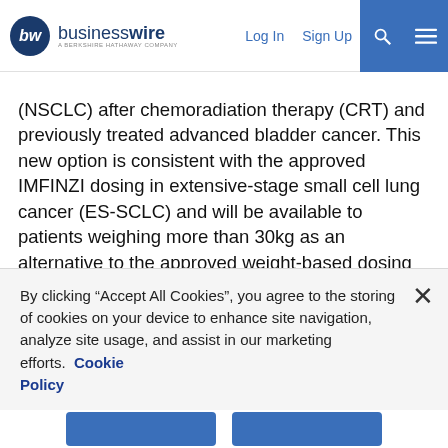businesswire — A BERKSHIRE HATHAWAY COMPANY | Log In | Sign Up
(NSCLC) after chemoradiation therapy (CRT) and previously treated advanced bladder cancer. This new option is consistent with the approved IMFINZI dosing in extensive-stage small cell lung cancer (ES-SCLC) and will be available to patients weighing more than 30kg as an alternative to the approved weight-based dosing of 10mg/kg every two weeks.
The approval by the Food and Drug Administration (FDA) was based on data from several IMFINZI clinical trials, including the PACIFIC Phase III trial which supported the two-week, weight-based dosing in unresectable Stage III NSCLC, and the CASPIAN Phase III trial which used four-week, fixed-dosing during maintenance treatment in ES-SCLC. The decision follows the [partially visible link text]
By clicking “Accept All Cookies”, you agree to the storing of cookies on your device to enhance site navigation, analyze site usage, and assist in our marketing efforts.  Cookie Policy